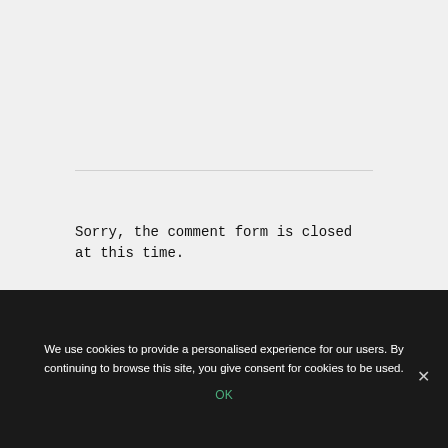Sorry, the comment form is closed at this time.
We use cookies to provide a personalised experience for our users. By continuing to browse this site, you give consent for cookies to be used.
OK